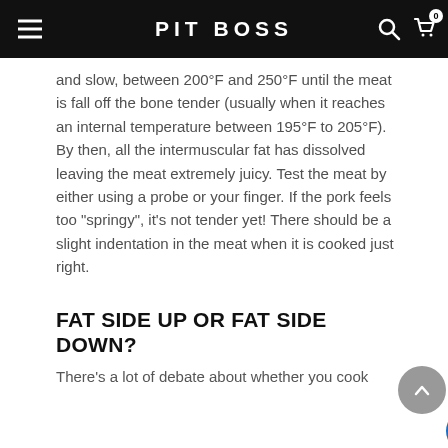PIT BOSS
and slow, between 200°F and 250°F until the meat is fall off the bone tender (usually when it reaches an internal temperature between 195°F to 205°F). By then, all the intermuscular fat has dissolved leaving the meat extremely juicy. Test the meat by either using a probe or your finger. If the pork feels too “springy”, it’s not tender yet! There should be a slight indentation in the meat when it is cooked just right.
FAT SIDE UP OR FAT SIDE DOWN?
There’s a lot of debate about whether you cook